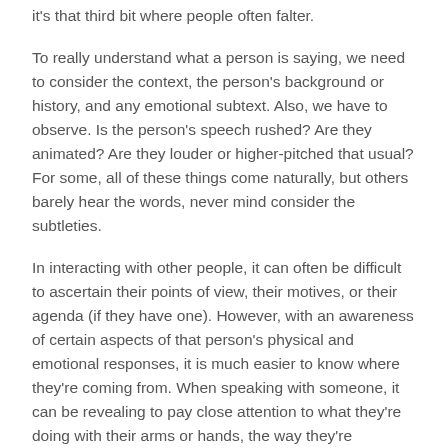it's that third bit where people often falter.
To really understand what a person is saying, we need to consider the context, the person's background or history, and any emotional subtext. Also, we have to observe. Is the person's speech rushed? Are they animated? Are they louder or higher-pitched that usual? For some, all of these things come naturally, but others barely hear the words, never mind consider the subtleties.
In interacting with other people, it can often be difficult to ascertain their points of view, their motives, or their agenda (if they have one). However, with an awareness of certain aspects of that person's physical and emotional responses, it is much easier to know where they're coming from. When speaking with someone, it can be revealing to pay close attention to what they're doing with their arms or hands, the way they're breathing, and any changes in the color of their face or the intensity of their eyes. It is often the case that these attributes can